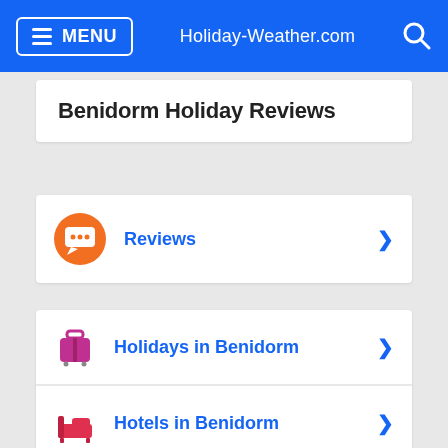MENU   Holiday-Weather.com
Benidorm Holiday Reviews
Reviews
Holidays in Benidorm
Hotels in Benidorm
Flights to Benidorm
Weather in Benidorm